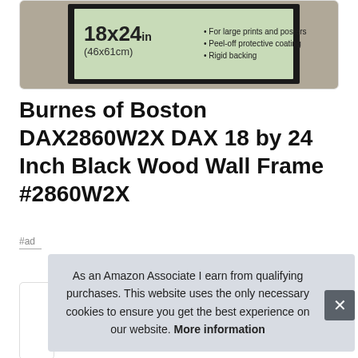[Figure (photo): Product image of a black wood wall frame (18x24 inch) showing the frame packaging with green insert, size labels, and bullet points: For large prints and posters, Peel-off protective coating, Rigid backing]
Burnes of Boston DAX2860W2X DAX 18 by 24 Inch Black Wood Wall Frame #2860W2X
#ad
As an Amazon Associate I earn from qualifying purchases. This website uses the only necessary cookies to ensure you get the best experience on our website. More information